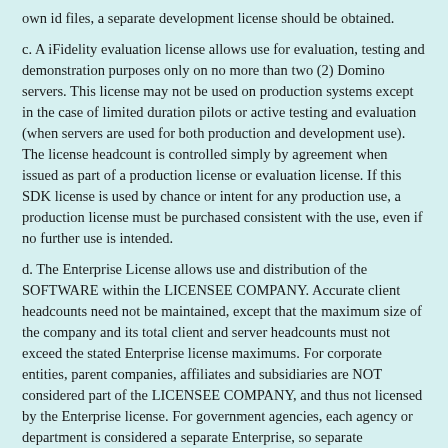own id files, a separate development license should be obtained.
c. A iFidelity evaluation license allows use for evaluation, testing and demonstration purposes only on no more than two (2) Domino servers. This license may not be used on production systems except in the case of limited duration pilots or active testing and evaluation (when servers are used for both production and development use). The license headcount is controlled simply by agreement when issued as part of a production license or evaluation license. If this SDK license is used by chance or intent for any production use, a production license must be purchased consistent with the use, even if no further use is intended.
d. The Enterprise License allows use and distribution of the SOFTWARE within the LICENSEE COMPANY. Accurate client headcounts need not be maintained, except that the maximum size of the company and its total client and server headcounts must not exceed the stated Enterprise license maximums. For corporate entities, parent companies, affiliates and subsidiaries are NOT considered part of the LICENSEE COMPANY, and thus not licensed by the Enterprise license. For government agencies, each agency or department is considered a separate Enterprise, so separate Departments and Agencies are not licensed by the single Enterprise license. Enterprise licenses may require a signed agreement, and are available only at the discretion of Genii